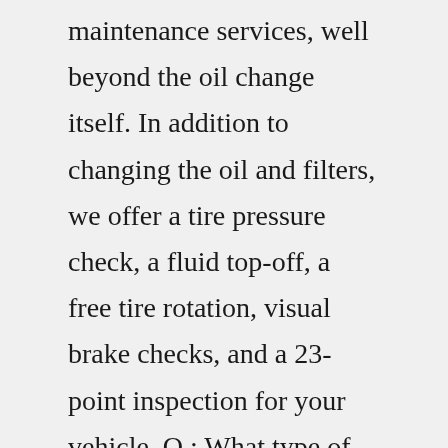maintenance services, well beyond the oil change itself. In addition to changing the oil and filters, we offer a tire pressure check, a fluid top-off, a free tire rotation, visual brake checks, and a 23-point inspection for your vehicle. Q : What type of oil does my car need ... Servicing DODGE Vehicles. Dempsey Chrysler Jeep Dodge II. Servicing DODGE Vehicles (331) 808-1734. ... Oil Change; Spark Plug Replacement; Wheel